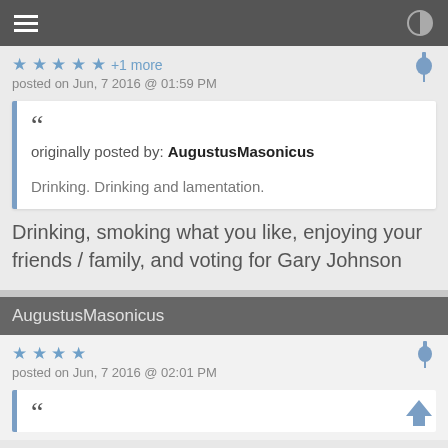★ ★ ★ ★ ★ +1 more
posted on Jun, 7 2016 @ 01:59 PM
originally posted by: AugustusMasonicus

Drinking. Drinking and lamentation.
Drinking, smoking what you like, enjoying your friends / family, and voting for Gary Johnson
AugustusMasonicus
★ ★ ★ ★
posted on Jun, 7 2016 @ 02:01 PM